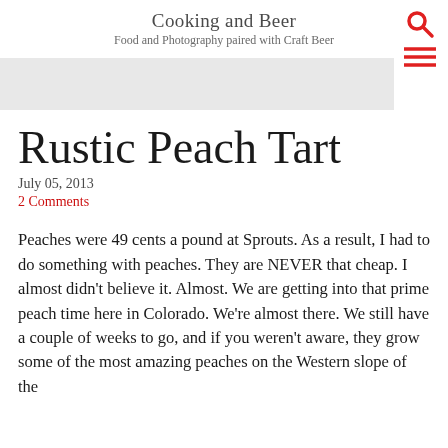Cooking and Beer
Food and Photography paired with Craft Beer
Rustic Peach Tart
July 05, 2013
2 Comments
Peaches were 49 cents a pound at Sprouts. As a result, I had to do something with peaches. They are NEVER that cheap. I almost didn't believe it. Almost. We are getting into that prime peach time here in Colorado. We're almost there. We still have a couple of weeks to go, and if you weren't aware, they grow some of the most amazing peaches on the Western slope of the